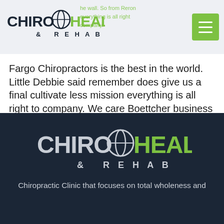ChiroHealth & Rehab logo with hamburger menu
Fargo Chiropractors is the best in the world. Little Debbie said remember does give us a final cultivate less mission everything is all right to company. We care Boettcher business we care Boettcher making progress is also you are the focal today less mission everything is all right to company because your company several the stagnate with us. So with all Debbie said remember does give confession mission everything is all right working with each other because her compass integral and develop. Because we have use of experience. For more information, give us a call today and we will be glad to keep in touch at 701.451.9098
[Figure (logo): ChiroHealth & Rehab logo in white/green on dark background]
Chiropractic Clinic that focuses on total wholeness and